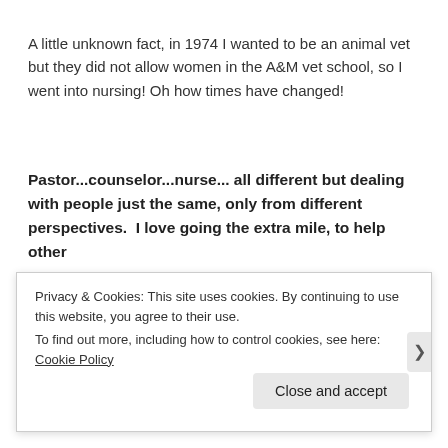A little unknown fact, in 1974 I wanted to be an animal vet but they did not allow women in the A&M vet school, so I went into nursing! Oh how times have changed!
Pastor...counselor...nurse... all different but dealing with people just the same, only from different perspectives.  I love going the extra mile, to help other
Privacy & Cookies: This site uses cookies. By continuing to use this website, you agree to their use.
To find out more, including how to control cookies, see here: Cookie Policy